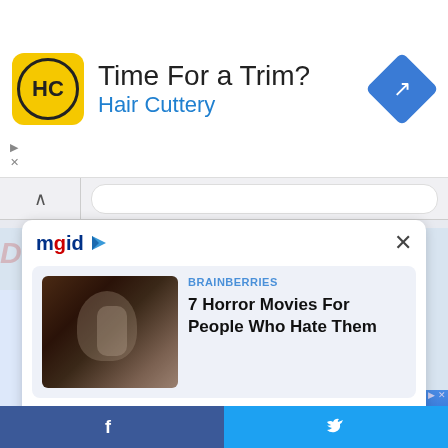[Figure (screenshot): Hair Cuttery advertisement banner with yellow HC logo, 'Time For a Trim?' heading, 'Hair Cuttery' subtitle in blue, and blue diamond navigation arrow]
[Figure (screenshot): mgid content recommendation panel showing two article cards: '7 Horror Movies For People Who Hate Them' by BRAINBERRIES with horror movie thumbnail, and 'Best Cat Breeds For All 12 Horoscope Signs' by BRAINBERRIES with cat face thumbnail]
[Figure (screenshot): Bottom share bar with Facebook and Twitter buttons]